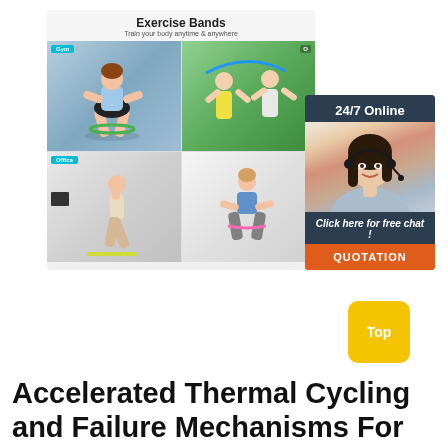[Figure (photo): Exercise Bands product card showing 'Exercise Bands - Train your body anytime & anywhere' with four photos: Gym (woman squatting with green resistance band), Outdoor (elderly couple exercising with blue resistance band), Office (woman doing yoga lunge with yellow band), Home (woman squatting with pink band)]
[Figure (infographic): 24/7 Online support widget with dark navy background, photo of smiling woman with headset, 'Click here for free chat!' text, and orange QUOTATION button]
[Figure (other): Yellow 'Top' button]
Accelerated Thermal Cycling and Failure Mechanisms For